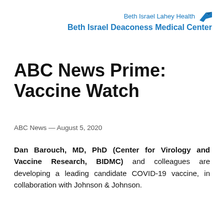[Figure (logo): Beth Israel Lahey Health / Beth Israel Deaconess Medical Center logo with blue bird icon]
ABC News Prime: Vaccine Watch
ABC News — August 5, 2020
Dan Barouch, MD, PhD (Center for Virology and Vaccine Research, BIDMC) and colleagues are developing a leading candidate COVID-19 vaccine, in collaboration with Johnson & Johnson.